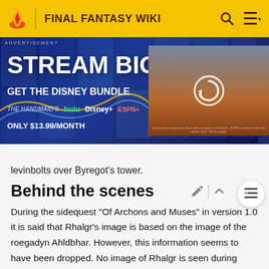FINAL FANTASY WIKI
[Figure (screenshot): Advertisement banner for Disney Bundle: STREAM BIG. GET THE DISNEY BUNDLE. Hulu, Disney+, ESPN+. ONLY $13.99/MONTH. With a video thumbnail showing a loading/refresh icon.]
levinbolts over Byregot's tower.
Behind the scenes
During the sidequest "Of Archons and Muses" in version 1.0 it is said that Rhalgr's image is based on the image of the roegadyn Ahldbhar. However, this information seems to have been dropped. No image of Rhalgr is seen during version 1.0, and the images of the Destroyer seen in the